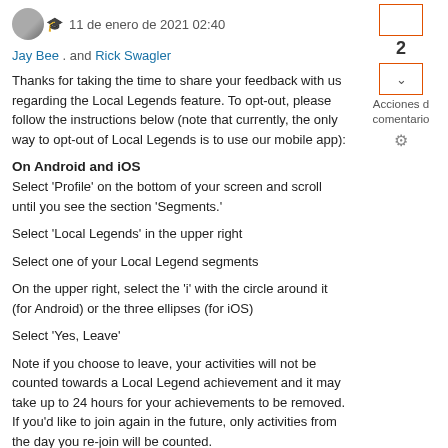11 de enero de 2021 02:40
Jay Bee . and Rick Swagler
Thanks for taking the time to share your feedback with us regarding the Local Legends feature. To opt-out, please follow the instructions below (note that currently, the only way to opt-out of Local Legends is to use our mobile app):
On Android and iOS
Select 'Profile' on the bottom of your screen and scroll until you see the section 'Segments.'
Select 'Local Legends' in the upper right
Select one of your Local Legend segments
On the upper right, select the 'i' with the circle around it (for Android) or the three ellipses (for iOS)
Select 'Yes, Leave'
Note if you choose to leave, your activities will not be counted towards a Local Legend achievement and it may take up to 24 hours for your achievements to be removed. If you'd like to join again in the future, only activities from the day you re-join will be counted.